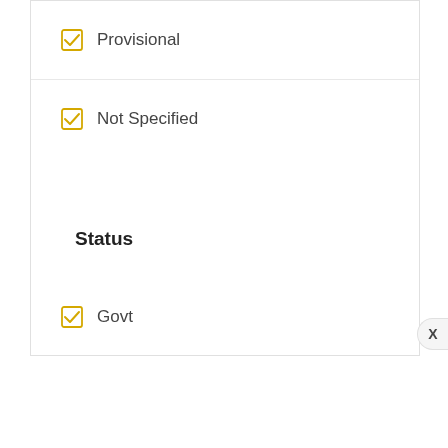Provisional
Not Specified
Status
Govt